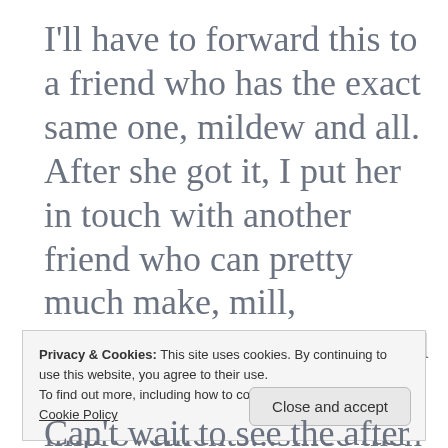I'll have to forward this to a friend who has the exact same one, mildew and all. After she got it, I put her in touch with another friend who can pretty much make, mill, manufacture anything, and he made some structural improvements...since then it's sat in her driveway waiting for the
Privacy & Cookies: This site uses cookies. By continuing to use this website, you agree to their use.
To find out more, including how to control cookies, see here:
Cookie Policy
[Close and accept]
Can't wait to see the after pix!